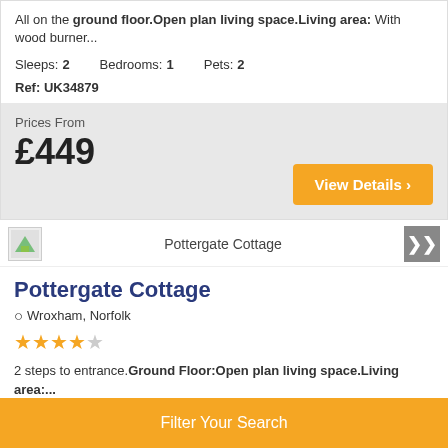All on the ground floor.Open plan living space.Living area: With wood burner...
Sleeps: 2   Bedrooms: 1   Pets: 2
Ref: UK34879
Prices From £449
View Details ›
Pottergate Cottage
Wroxham, Norfolk
★★★★☆
2 steps to entrance.Ground Floor:Open plan living space.Living area:...
Sleeps: 2   Bedrooms: 1   Pets: 0
Ref: UKC2511
Filter Your Search